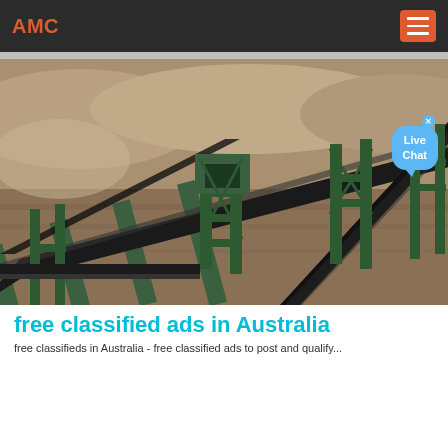AMC
[Figure (photo): Industrial mining site with multiple conveyor belts carrying material, green steel support structures, arid landscape in background. Live Chat bubble overlay in top right corner.]
free classified ads in Australia
free classifieds in Australia - free classified ads to post and qualify...